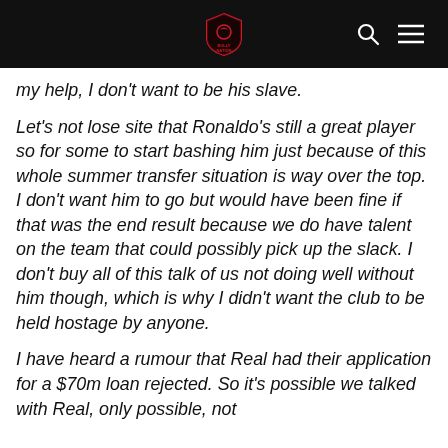BULLY NATION [logo]
my help, I don't want to be his slave.
Let's not lose site that Ronaldo's still a great player so for some to start bashing him just because of this whole summer transfer situation is way over the top. I don't want him to go but would have been fine if that was the end result because we do have talent on the team that could possibly pick up the slack. I don't buy all of this talk of us not doing well without him though, which is why I didn't want the club to be held hostage by anyone.
I have heard a rumour that Real had their application for a $70m loan rejected. So it's possible we talked with Real, only possible, not